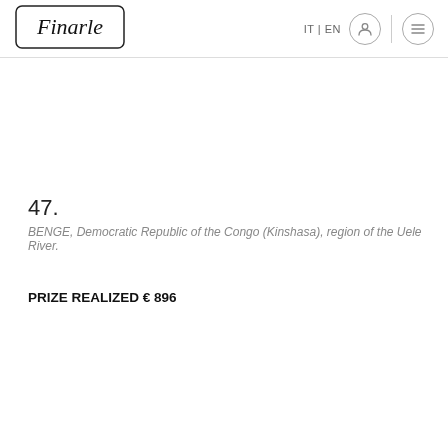Finarle | IT | EN
47.
BENGE, Democratic Republic of the Congo (Kinshasa), region of the Uele River.
PRIZE REALIZED € 896